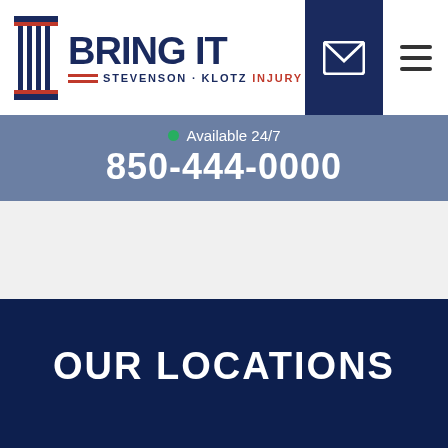[Figure (logo): Bring It Stevenson Klotz Injury Lawyers logo with hourglass/columns icon]
Available 24/7
850-444-0000
OUR LOCATIONS